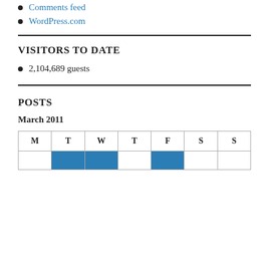Comments feed
WordPress.com
VISITORS TO DATE
2,104,689 guests
POSTS
March 2011
| M | T | W | T | F | S | S |
| --- | --- | --- | --- | --- | --- | --- |
|  |  |  |  |  |  |  |